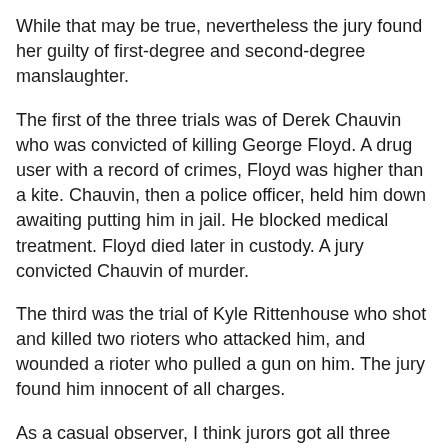While that may be true, nevertheless the jury found her guilty of first-degree and second-degree manslaughter.
The first of the three trials was of Derek Chauvin who was convicted of killing George Floyd. A drug user with a record of crimes, Floyd was higher than a kite. Chauvin, then a police officer, held him down awaiting putting him in jail. He blocked medical treatment. Floyd died later in custody. A jury convicted Chauvin of murder.
The third was the trial of Kyle Rittenhouse who shot and killed two rioters who attacked him, and wounded a rioter who pulled a gun on him. The jury found him innocent of all charges.
As a casual observer, I think jurors got all three verdicts right.
Which brings me to Byrd. Why should he not face a jury of his peers to determine whether his killing of Babbitt was murder?
NBC reported in August, "In the chaotic minutes before he shot and killed Ashli Babbitt during the Capitol riot on Jan. 6,